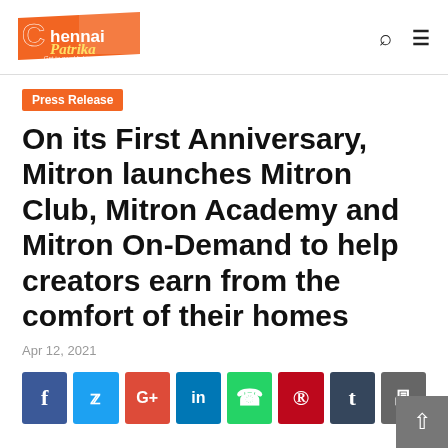ChennaiPatrika - Get to good light (logo with search and menu icons)
Press Release
On its First Anniversary, Mitron launches Mitron Club, Mitron Academy and Mitron On-Demand to help creators earn from the comfort of their homes
Apr 12, 2021
[Figure (infographic): Social sharing buttons row: Facebook, Twitter, Google+, LinkedIn, WhatsApp, Pinterest, Tumblr, Print]